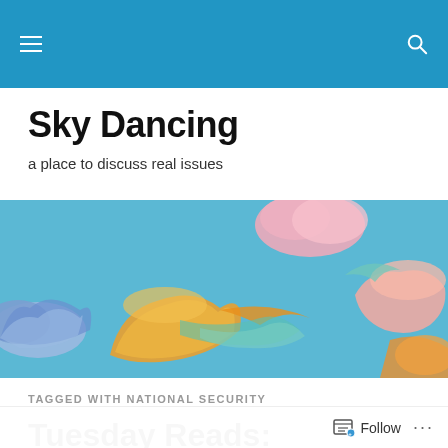Sky Dancing blog navigation bar
Sky Dancing
a place to discuss real issues
[Figure (illustration): Decorative banner image showing colorful swirling clouds in blue, orange, pink, green, and purple on a light blue sky background, in a traditional Tibetan/Buddhist art style.]
TAGGED WITH NATIONAL SECURITY
Tuesday Reads: Democratic National Convention and Other News
Follow